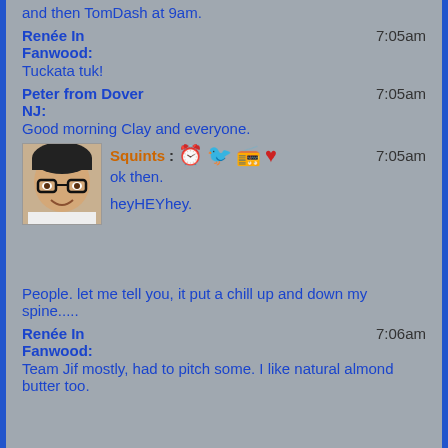and then TomDash at 9am.
Renée In Fanwood: 7:05am
Tuckata tuk!
Peter from Dover NJ: 7:05am
Good morning Clay and everyone.
Squints: [alarm clock emoji] [bird emoji] [radio emoji] [heart emoji] 7:05am
ok then.

heyHEYhey.
People. let me tell you, it put a chill up and down my spine.....
Renée In Fanwood: 7:06am
Team Jif mostly, had to pitch some. I like natural almond butter too.